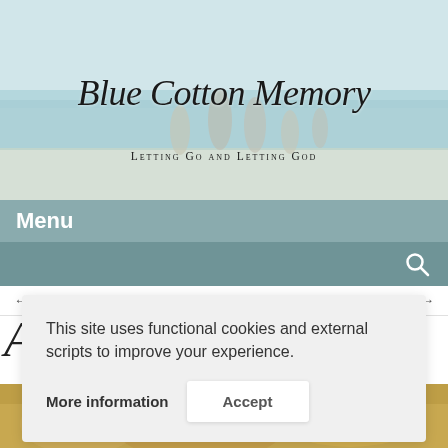[Figure (photo): Header banner with beach scene showing a family playing near the ocean, with light blue sky and turquoise water. Script text 'Blue Cotton Memory' and subtitle 'Letting Go and Letting God' overlaid.]
Blue Cotton Memory
Letting Go and Letting God
Menu
[Figure (other): Teal search bar with magnifying glass icon on the right]
← Christmas Truffles
Blue Cotton Granola Bars →
Almond Dairy S...
[Figure (photo): Partial food photo visible at bottom of page, warm yellow/golden tones]
This site uses functional cookies and external scripts to improve your experience.
More information
Accept